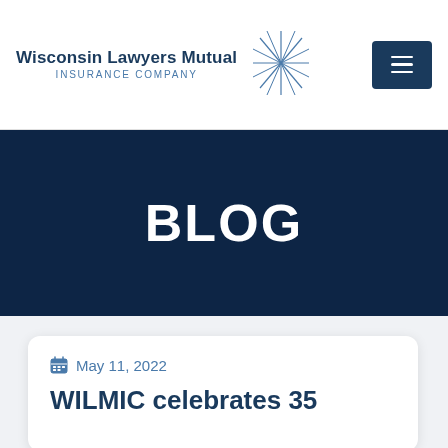Wisconsin Lawyers Mutual Insurance Company
BLOG
May 11, 2022
WILMIC celebrates 35